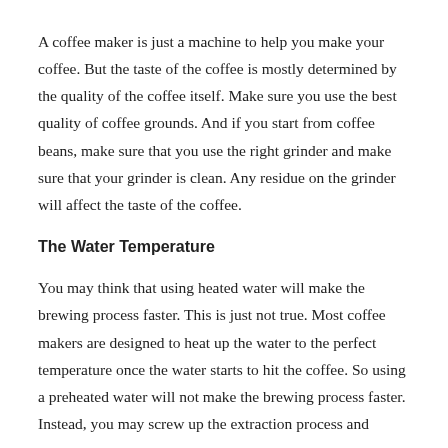A coffee maker is just a machine to help you make your coffee. But the taste of the coffee is mostly determined by the quality of the coffee itself. Make sure you use the best quality of coffee grounds. And if you start from coffee beans, make sure that you use the right grinder and make sure that your grinder is clean. Any residue on the grinder will affect the taste of the coffee.
The Water Temperature
You may think that using heated water will make the brewing process faster. This is just not true. Most coffee makers are designed to heat up the water to the perfect temperature once the water starts to hit the coffee. So using a preheated water will not make the brewing process faster. Instead, you may screw up the extraction process and